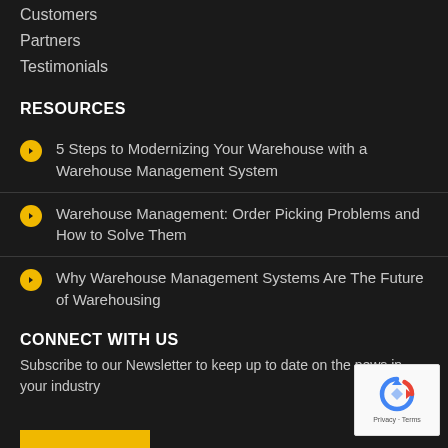Customers
Partners
Testimonials
RESOURCES
5 Steps to Modernizing Your Warehouse with a Warehouse Management System
Warehouse Management: Order Picking Problems and How to Solve Them
Why Warehouse Management Systems Are The Future of Warehousing
CONNECT WITH US
Subscribe to our Newsletter to keep up to date on the news in your industry